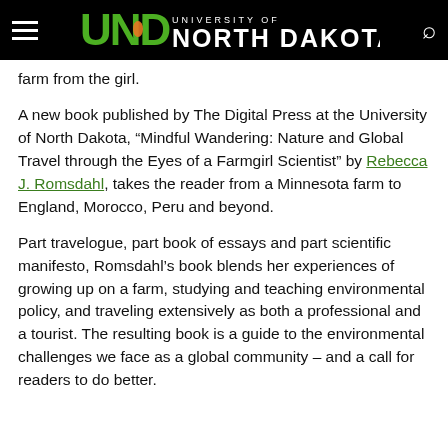University of North Dakota
farm from the girl.
A new book published by The Digital Press at the University of North Dakota, “Mindful Wandering: Nature and Global Travel through the Eyes of a Farmgirl Scientist” by Rebecca J. Romsdahl, takes the reader from a Minnesota farm to England, Morocco, Peru and beyond.
Part travelogue, part book of essays and part scientific manifesto, Romsdahl’s book blends her experiences of growing up on a farm, studying and teaching environmental policy, and traveling extensively as both a professional and a tourist. The resulting book is a guide to the environmental challenges we face as a global community – and a call for readers to do better.